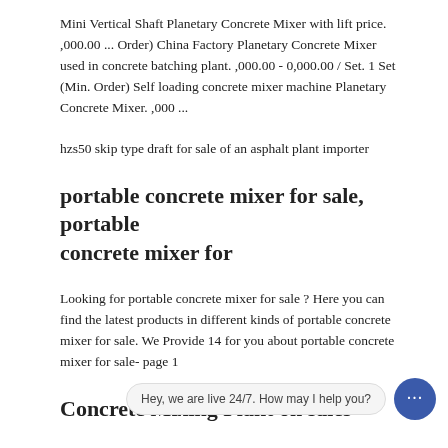Mini Vertical Shaft Planetary Concrete Mixer with lift price. ,000.00 ... Order) China Factory Planetary Concrete Mixer used in concrete batching plant. ,000.00 - 0,000.00 / Set. 1 Set (Min. Order) Self loading concrete mixer machine Planetary Concrete Mixer. ,000 ...
hzs50 skip type draft for sale of an asphalt plant importer
portable concrete mixer for sale, portable concrete mixer for
Looking for portable concrete mixer for sale ? Here you can find the latest products in different kinds of portable concrete mixer for sale. We Provide 14 for you about portable concrete mixer for sale- page 1
Concrete Mixing Plant on sales
Concrete Mixing Plant, You can Buy good quality Concrete Mixing Plant , we are Concrete Mixing Plant distributor & Concrete Mixing Plant manufacturer from China market. sales@cinacharm.com. Engli English French Germ... s C Japanese Korean Arabic Hindi Turkish Indonesian Vietnamese Thai Bangoli Russian Polish Portug A Gunti| Coogle Home Braduot